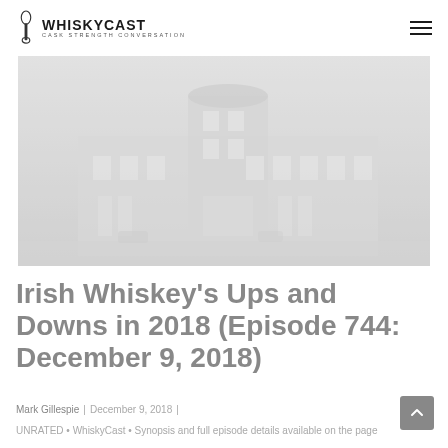WhiskyCast — Cask Strength Conversation
[Figure (photo): Exterior photo of a distillery building with large windows, shown in faded/muted tones]
Irish Whiskey's Ups and Downs in 2018 (Episode 744: December 9, 2018)
Mark Gillespie | December 9, 2018 |
UNRATED • WhiskyCast • Synopsis and full episode details available on the page